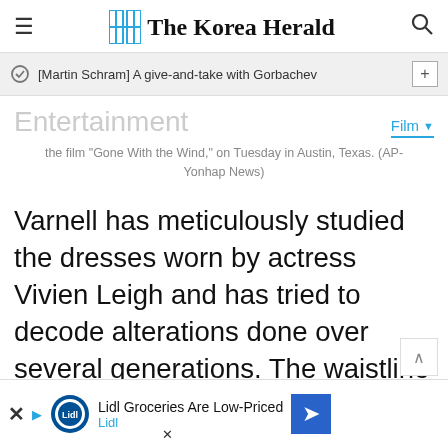The Korea Herald
[Martin Schram] A give-and-take with Gorbachev
Entertainment
the film "Gone With the Wind," on Tuesday in Austin, Texas. (AP-Yonhap News)
Varnell has meticulously studied the dresses worn by actress Vivien Leigh and has tried to decode alterations done over several generations. The waistline of the green curtain dress has been altered several times. Extra feathers had been sewn onto the
Lidl Groceries Are Low-Priced
Lidl